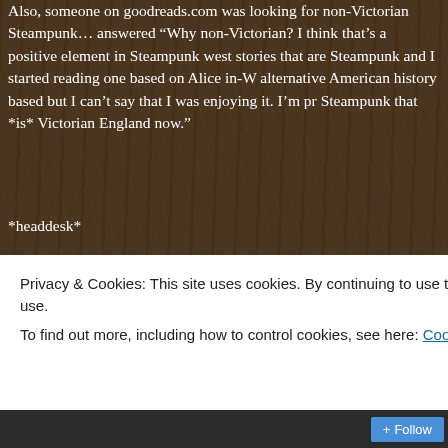Also, someone on goodreads.com was looking for non-Victorian Steampunk answered "Why non-Victorian? I think that's a positive element in Steampunk west stories that are Steampunk and I started reading one based on Alice in-W alternative American history based but I can't say that I was enjoying it. I'm pr Steampunk that *is* Victorian England now."
*headdesk*
I just finished one book a couple of days ago, and was today skimming through to start next, and decided I'd try out Gail Carriger's Soulless, which I got on sa months ago. I read about 5 or 6 pages of the main character beating etiquette parasol, and stopped. It's not a bad book, or poorly written or anything, it's jus But it seems that has become the definition of Steampunk lately, and I dislike Steampunk is becoming pigeon-holed into this, and people are starting to say Z elements, it's not Steampunk.
That resentment comes from my main reason for writing Dieselpunk in the firs frankly, that I'm bored with traditional medieval fantasy. I wanted a setting tha
Privacy & Cookies: This site uses cookies. By continuing to use this website, you agree to their use.
To find out more, including how to control cookies, see here: Cookie Policy
Close and accept